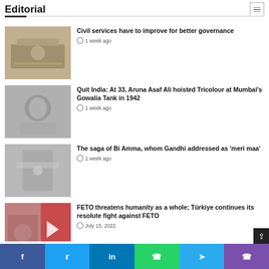Editorial
Civil services have to improve for better governance — 1 week ago
Quit India: At 33, Aruna Asaf Ali hoisted Tricolour at Mumbai's Gowalia Tank in 1942 — 1 week ago
The saga of Bi Amma, whom Gandhi addressed as 'meri maa' — 1 week ago
FETO threatens humanity as a whole; Türkiye continues its resolute fight against FETO — July 15, 2022